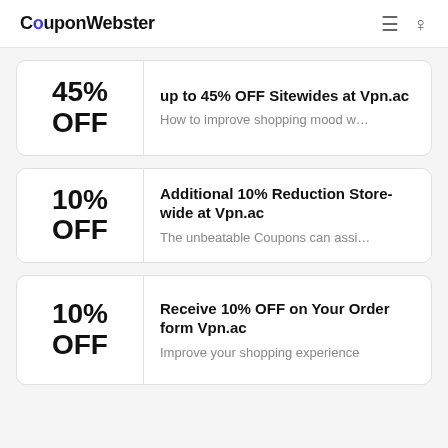CouponWebster
45% OFF — up to 45% OFF Sitewides at Vpn.ac — How to improve shopping mood w...
10% OFF — Additional 10% Reduction Store-wide at Vpn.ac — The unbeatable Coupons can assi...
10% OFF — Receive 10% OFF on Your Order form Vpn.ac — Improve your shopping experience